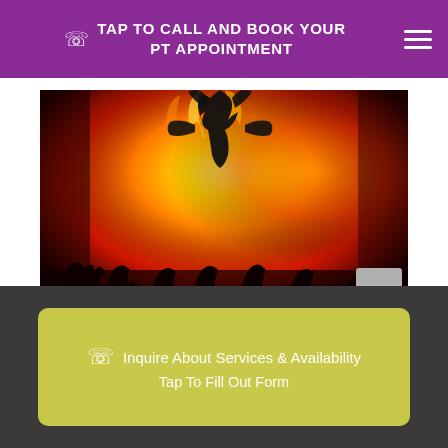TAP TO CALL AND BOOK YOUR PT APPOINTMENT
[Figure (illustration): Dark fantasy illustration of silhouetted figures running before a large fire with a demonic figure standing in the center amid flames]
Salem Witch Trials: Historical Demonization Of The
Inquire About Services & Availability Tap To Fill Out Form